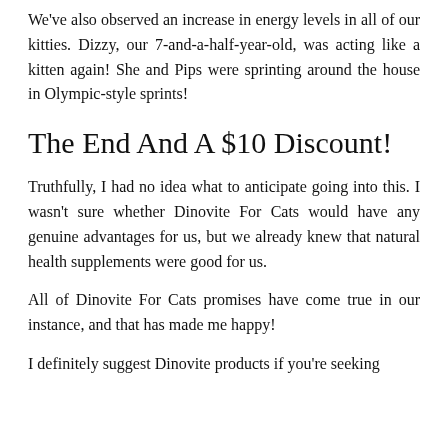We've also observed an increase in energy levels in all of our kitties. Dizzy, our 7-and-a-half-year-old, was acting like a kitten again! She and Pips were sprinting around the house in Olympic-style sprints!
The End And A $10 Discount!
Truthfully, I had no idea what to anticipate going into this. I wasn't sure whether Dinovite For Cats would have any genuine advantages for us, but we already knew that natural health supplements were good for us.
All of Dinovite For Cats promises have come true in our instance, and that has made me happy!
I definitely suggest Dinovite products if you're seeking